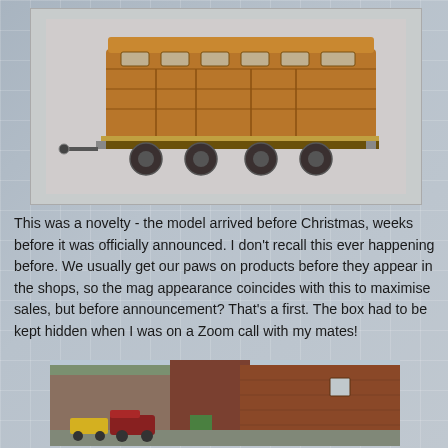[Figure (photo): Model railway coach — a brown/tan vintage passenger carriage on a white/grey background, shown from the side at a slight angle, with detailed wheels and undercarriage.]
This was a novelty - the model arrived before Christmas, weeks before it was officially announced. I don't recall this ever happening before. We usually get our paws on products before they appear in the shops, so the mag appearance coincides with this to maximise sales, but before announcement? That's a first. The box had to be kept hidden when I was on a Zoom call with my mates!
[Figure (photo): Industrial/railway scene showing brick warehouse buildings in red-brown, a small steam locomotive or shunter in red/maroon with yellow wagons, set in a yard or dockside area.]